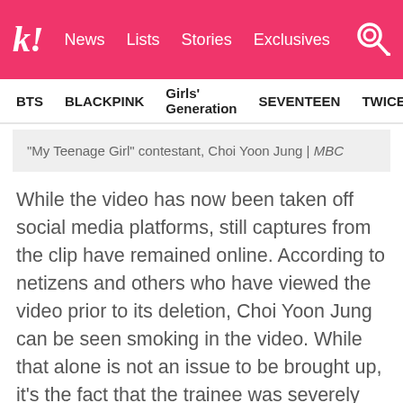k! News  Lists  Stories  Exclusives
BTS  BLACKPINK  Girls' Generation  SEVENTEEN  TWICE
“My Teenage Girl” contestant, Choi Yoon Jung | MBC
While the video has now been taken off social media platforms, still captures from the clip have remained online. According to netizens and others who have viewed the video prior to its deletion, Choi Yoon Jung can be seen smoking in the video. While that alone is not an issue to be brought up, it’s the fact that the trainee was severely underaged in the rumored clip.
[Figure (photo): Blurred photo, partial view, pink tones at edges]